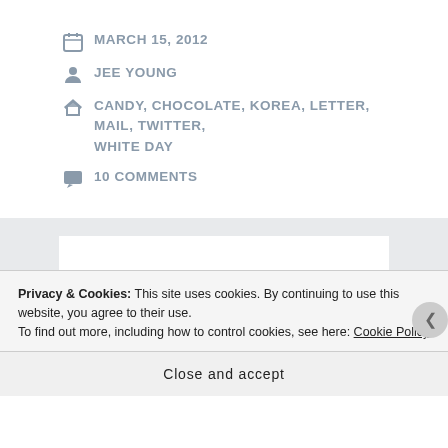MARCH 15, 2012
JEE YOUNG
CANDY, CHOCOLATE, KOREA, LETTER, MAIL, TWITTER, WHITE DAY
10 COMMENTS
[Figure (photo): Photo of candies or chocolates with green and red decorations on white background]
Privacy & Cookies: This site uses cookies. By continuing to use this website, you agree to their use. To find out more, including how to control cookies, see here: Cookie Policy
Close and accept